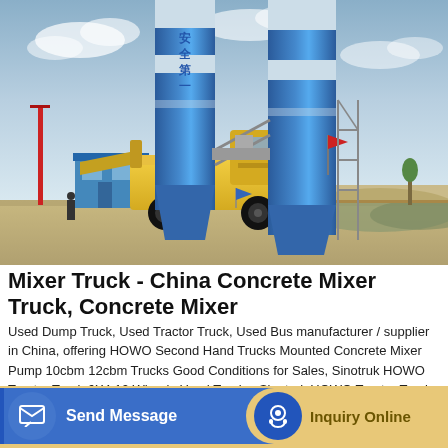[Figure (photo): Industrial concrete batching plant with two large blue cylindrical silos with white bands and Chinese characters, a yellow front loader truck, blue prefab site office, and construction equipment on a gravel yard with a partly cloudy sky.]
Mixer Truck - China Concrete Mixer Truck, Concrete Mixer
Used Dump Truck, Used Tractor Truck, Used Bus manufacturer / supplier in China, offering HOWO Second Hand Trucks Mounted Concrete Mixer Pump 10cbm 12cbm Trucks Good Conditions for Sales, Sinotruk HOWO Tractor Truck 6X4 10 Wheels Used Trucks, Sinotruk HOWO Tractor Truck 6X4 10 Wheels Used Trucks for Sales and so on.
Send Message
Inquiry Online